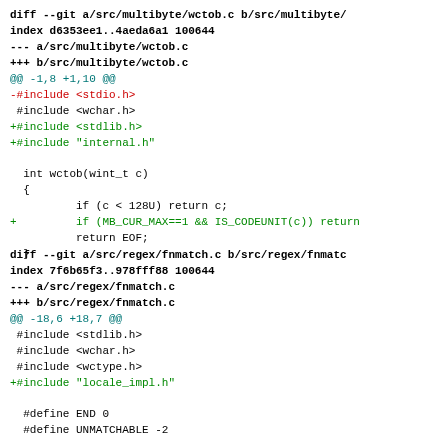diff --git a/src/multibyte/wctob.c b/src/multibyte/wctob.c
index d6353ee1..4aeda6a1 100644
--- a/src/multibyte/wctob.c
+++ b/src/multibyte/wctob.c
@@ -1,8 +1,10 @@
-#include <stdio.h>
 #include <wchar.h>
+#include <stdlib.h>
+#include "internal.h"

 int wctob(wint_t c)
 {
         if (c < 128U) return c;
 +        if (MB_CUR_MAX==1 && IS_CODEUNIT(c)) return
         return EOF;
 }
diff --git a/src/regex/fnmatch.c b/src/regex/fnmatch.c
index 7f6b65f3..978fff88 100644
--- a/src/regex/fnmatch.c
+++ b/src/regex/fnmatch.c
@@ -18,6 +18,7 @@
 #include <stdlib.h>
 #include <wchar.h>
 #include <wctype.h>
+#include "locale_impl.h"

 #define END 0
 #define UNMATCHABLE -2